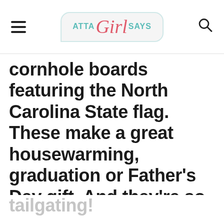ATTA Girl SAYS
cornhole boards featuring the North Carolina State flag. These make a great housewarming, graduation or Father’s Day gift. And they’re so fun to take
tailgating!